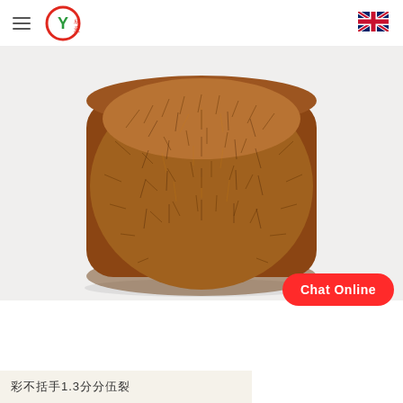Menu | Y成意 Logo | UK flag
[Figure (photo): Close-up of a cone of brown/golden fuzzy yarn with long fluffy fibers, on a white background]
Chat Online
彩不括手1.3分分伍裂